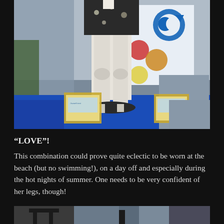[Figure (photo): A mannequin without a head, wearing a dark floral mini skirt and white stockings/tights, standing on a circular base. Awards/plaques displayed on a blue-covered table on either side. A colorful logo/banner visible in the background.]
“LOVE”!
This combination could prove quite eclectic to be worn at the beach (but no swimming!), on a day off and especially during the hot nights of summer. One needs to be very confident of her legs, though!
[Figure (photo): Partial view of another photo at the bottom of the page, partially cut off.]